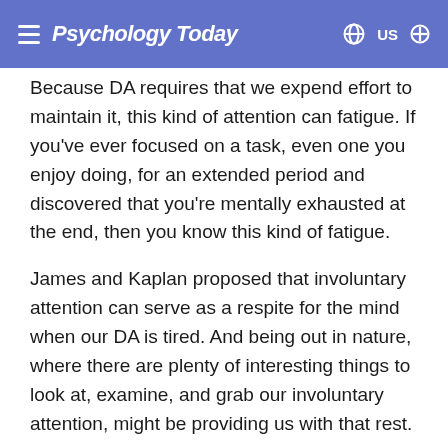Psychology Today
Because DA requires that we expend effort to maintain it, this kind of attention can fatigue. If you've ever focused on a task, even one you enjoy doing, for an extended period and discovered that you're mentally exhausted at the end, then you know this kind of fatigue.
James and Kaplan proposed that involuntary attention can serve as a respite for the mind when our DA is tired. And being out in nature, where there are plenty of interesting things to look at, examine, and grab our involuntary attention, might be providing us with that rest.